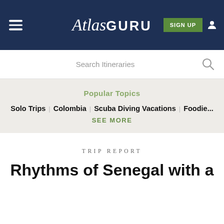Atlas GURU — navigation bar with hamburger menu, Sign Up button, and user icon
Search Itineraries
Popular Topics
Solo Trips
Colombia
Scuba Diving Vacations
Foodie...
SEE MORE
TRIP REPORT
Rhythms of Senegal with a